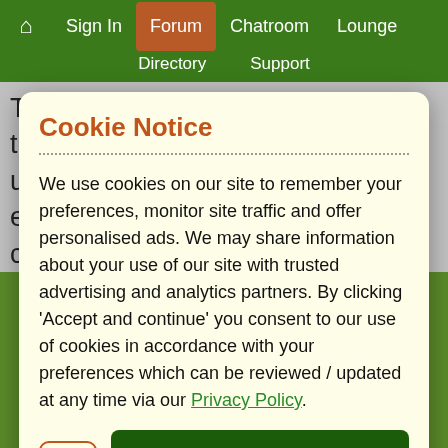Sign In | Forum | Chatroom | Lounge | Directory | Support
There's always trials and tribulations in life and your unfortunate loss of a child was an event which either bought you closer together or
Cookie Notice
We use cookies on our site to remember your preferences, monitor site traffic and offer personalised ads. We may share information about your use of our site with trusted advertising and analytics partners. By clicking 'Accept and continue' you consent to our use of cookies in accordance with your preferences which can be reviewed / updated at any time via our Privacy Policy.
Accept and continue
continue